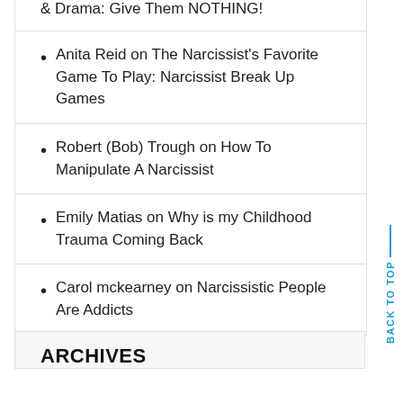& Drama: Give Them NOTHING!
Anita Reid on The Narcissist's Favorite Game To Play: Narcissist Break Up Games
Robert (Bob) Trough on How To Manipulate A Narcissist
Emily Matias on Why is my Childhood Trauma Coming Back
Carol mckearney on Narcissistic People Are Addicts
ARCHIVES